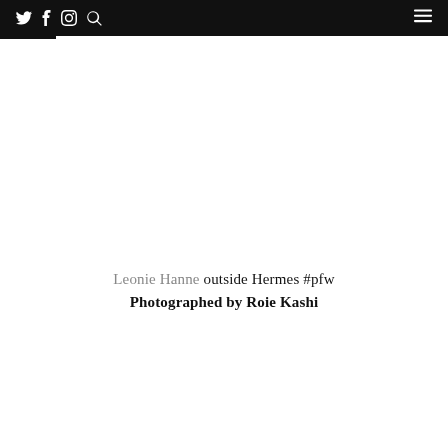Twitter Facebook Instagram Search | Menu
Leonie Hanne outside Hermes #pfw
Photographed by Roie Kashi